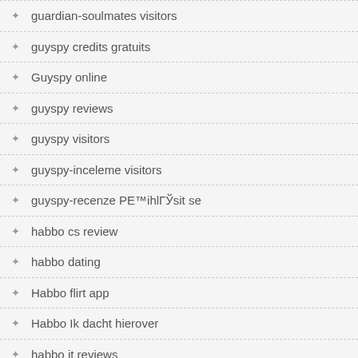guardian-soulmates visitors
guyspy credits gratuits
Guyspy online
guyspy reviews
guyspy visitors
guyspy-inceleme visitors
guyspy-recenze PЕ™ihlГЎsit se
habbo cs review
habbo dating
Habbo flirt app
Habbo Ik dacht hierover
habbo it reviews